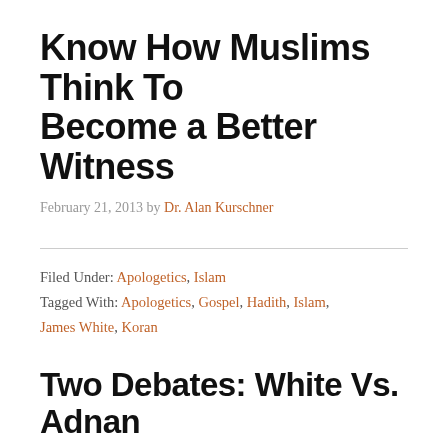Know How Muslims Think To Become a Better Witness
February 21, 2013 by Dr. Alan Kurschner
Filed Under: Apologetics, Islam
Tagged With: Apologetics, Gospel, Hadith, Islam, James White, Koran
Two Debates: White Vs. Adnan
September 29, 2012 by Dr. Alan Kurschner